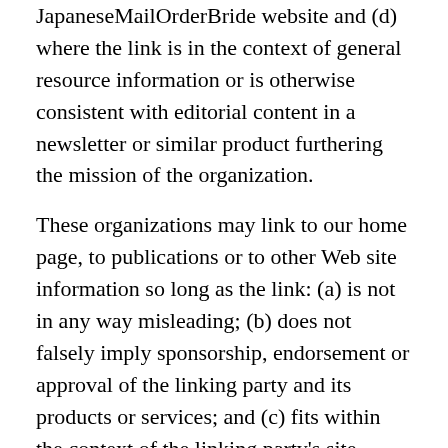JapaneseMailOrderBride website and (d) where the link is in the context of general resource information or is otherwise consistent with editorial content in a newsletter or similar product furthering the mission of the organization.
These organizations may link to our home page, to publications or to other Web site information so long as the link: (a) is not in any way misleading; (b) does not falsely imply sponsorship, endorsement or approval of the linking party and its products or services; and (c) fits within the context of the linking party's site.
If you are among the organizations listed in